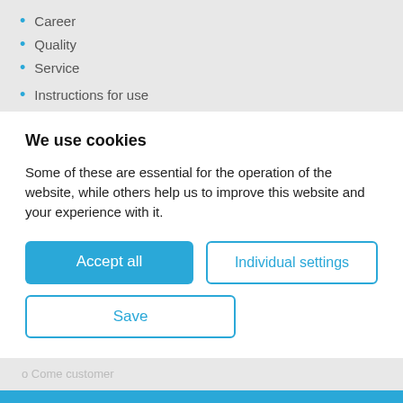Career
Quality
Service
Instructions for use
We use cookies
Some of these are essential for the operation of the website, while others help us to improve this website and your experience with it.
Accept all
Individual settings
Save
Phone:  +49 40 71 30 07-0
Fax:    +49 40 71 30 07-99
E-Mail: service@uromed.de